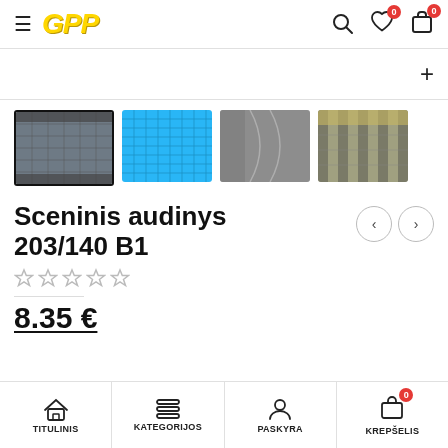GPP — navigation header with hamburger menu, logo, search, wishlist (0), cart (0)
[Figure (screenshot): Expand/collapse bar with plus button]
[Figure (photo): Four product thumbnails: dark mesh fabric (selected), blue mesh fabric, grey mesh installed on curved wall, grey mesh on building interior]
Sceninis audinys 203/140 B1
[Figure (other): Previous and next navigation arrow buttons]
[Figure (other): 5 empty/unfilled star rating icons]
8.35 €
TITULINIS | KATEGORIJOS | PASKYRA | KREPŠELIS